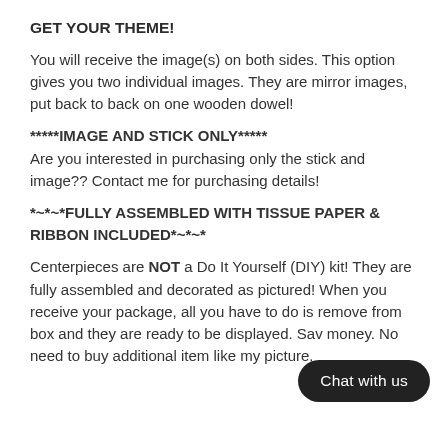GET YOUR THEME!
You will receive the image(s) on both sides. This option gives you two individual images. They are mirror images, put back to back on one wooden dowel!
*****IMAGE AND STICK ONLY*****
Are you interested in purchasing only the stick and image?? Contact me for purchasing details!
*~*~*FULLY ASSEMBLED WITH TISSUE PAPER & RIBBON INCLUDED*~*~*
Centerpieces are NOT a Do It Yourself (DIY) kit! They are fully assembled and decorated as pictured! When you receive your package, all you have to do is remove from box and they are ready to be displayed. Sav… money. No need to buy additional items… like my picture.